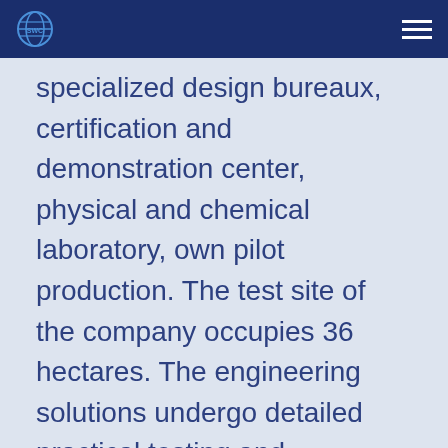SWC [logo]
specialized design bureaux, certification and demonstration center, physical and chemical laboratory, own pilot production. The test site of the company occupies 36 hectares. The engineering solutions undergo detailed practical testing and certification required to enter the technology to the world [market of top water purification]